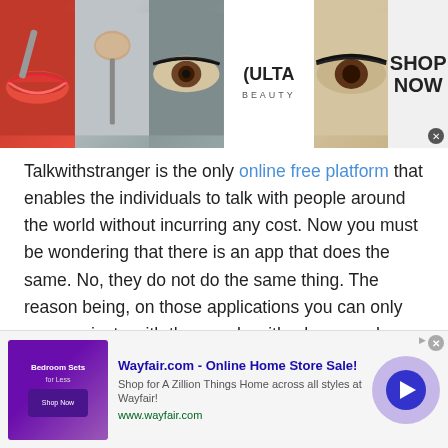[Figure (infographic): Top advertisement banner for Ulta Beauty with cosmetic images (lips, makeup brush, eyes), Ulta Beauty logo, and 'SHOP NOW' call to action]
Talkwithstranger is the only online free platform that enables the individuals to talk with people around the world without incurring any cost. Now you must be wondering that there is an app that does the same. No, they do not do the same thing. The reason being, on those applications you can only communicate with the people with whom you have a connection. You might know them by any reference, or you might know them directly. However, if you wish to talk to a stranger through those platforms,
[Figure (screenshot): Wayfair.com advertisement banner at bottom of page with text 'Wayfair.com - Online Home Store Sale!' and 'Shop for A Zillion Things Home across all styles at Wayfair!' and www.wayfair.com URL, with a bedroom furniture image on the left and a play button circle on the right]